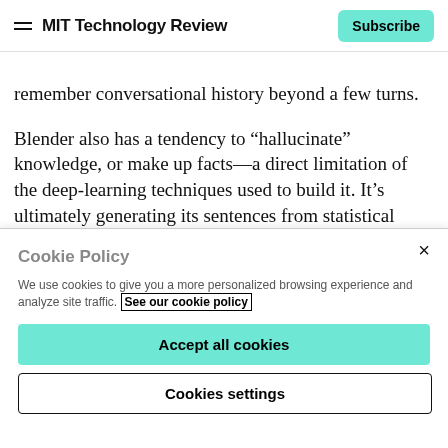MIT Technology Review | Subscribe
remember conversational history beyond a few turns.
Blender also has a tendency to “hallucinate” knowledge, or make up facts—a direct limitation of the deep-learning techniques used to build it. It’s ultimately generating its sentences from statistical correlations rather than a database of knowledge. As a result, it can string together a detailed and coherent description of a famous celebrity,
Cookie Policy
We use cookies to give you a more personalized browsing experience and analyze site traffic. See our cookie policy
Accept all cookies
Cookies settings